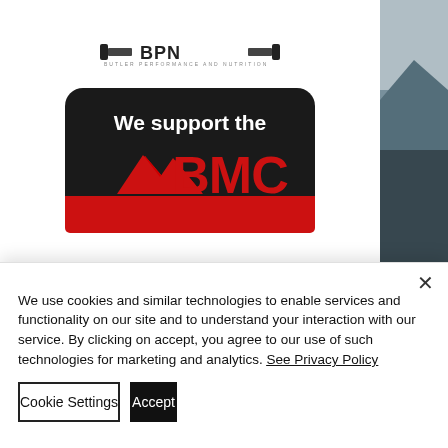[Figure (logo): BMC (British Mountaineering Council) support badge - black rounded rectangle with white text 'We support the' and large red BMC logo with mountain icon]
[Figure (infographic): Dark footer bar with four social media icons (Facebook, Instagram, Twitter, YouTube) in grey circles, copyright text below]
© BEE Adventures CIC (14204993)
We use cookies and similar technologies to enable services and functionality on our site and to understand your interaction with our service. By clicking on accept, you agree to our use of such technologies for marketing and analytics. See Privacy Policy